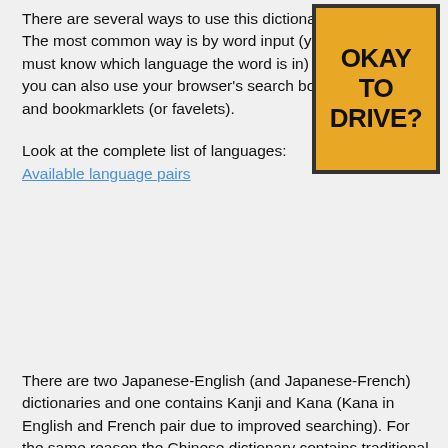There are several ways to use this dictionary. The most common way is by word input (you must know which language the word is in) but you can also use your browser's search box and bookmarklets (or favelets).
Look at the complete list of languages: Available language pairs
[Figure (other): Yellow warning sign with bold black text reading OKAY TO DRIVE?]
There are two Japanese-English (and Japanese-French) dictionaries and one contains Kanji and Kana (Kana in English and French pair due to improved searching). For the same reason the Chinese dictionary contains traditional and simplified Chinese terms on one side and Pinyin and English terms on the other.